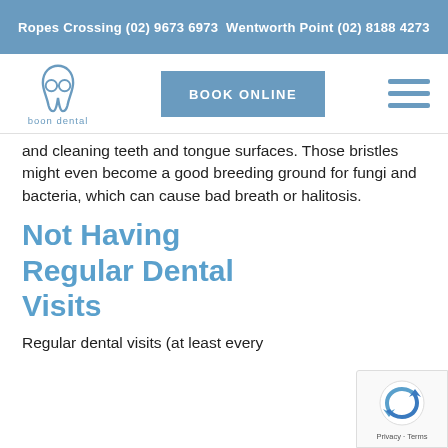Ropes Crossing (02) 9673 6973  Wentworth Point (02) 8188 4273
[Figure (logo): Boon Dental logo: tooth icon with 'boon dental' text below]
BOOK ONLINE
and cleaning teeth and tongue surfaces. Those bristles might even become a good breeding ground for fungi and bacteria, which can cause bad breath or halitosis.
Not Having Regular Dental Visits
Regular dental visits (at least every